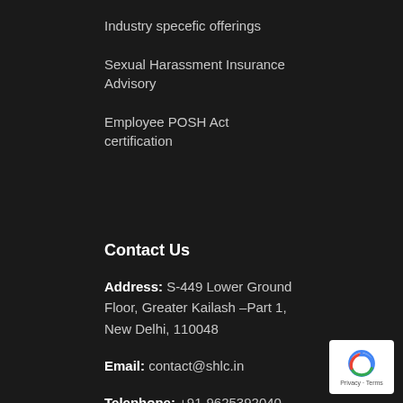Industry specefic offerings
Sexual Harassment Insurance Advisory
Employee POSH Act certification
Contact Us
Address: S-449 Lower Ground Floor, Greater Kailash –Part 1, New Delhi, 110048
Email: contact@shlc.in
Telephone: +91-9625392040
[Figure (logo): reCAPTCHA logo badge with Privacy and Terms text]